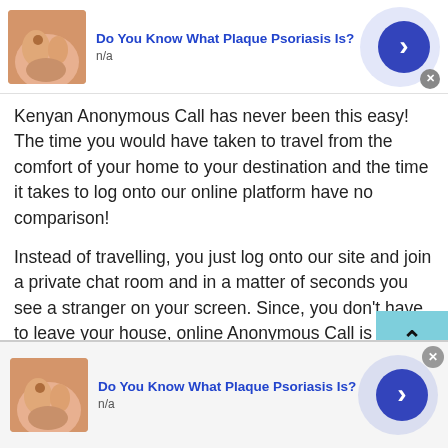[Figure (screenshot): Top advertisement banner: skin close-up image on left, 'Do You Know What Plaque Psoriasis Is?' title in blue, 'n/a' subtitle, blue circle arrow button, close X button]
Kenyan Anonymous Call has never been this easy! The time you would have taken to travel from the comfort of your home to your destination and the time it takes to log onto our online platform have no comparison!
Instead of travelling, you just log onto our site and join a private chat room and in a matter of seconds you see a stranger on your screen. Since, you don't have to leave your house, online Anonymous Call is undoubtedly much easier and more convenient compared to a face-to-face meeting.
[Figure (screenshot): Bottom advertisement banner: skin close-up image on left, 'Do You Know What Plaque Psoriasis Is?' title in blue, 'n/a' subtitle, blue circle arrow button, close X button]